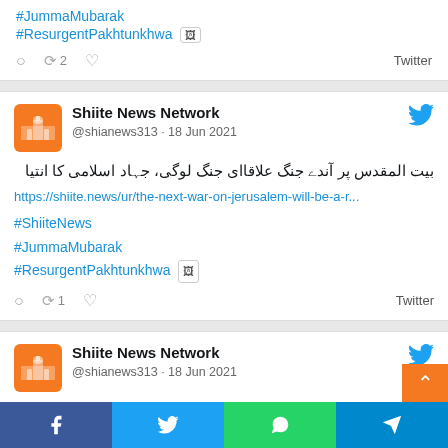#JummaMubarak
#ResurgentPakhtunkhwa [image icon]
○  ⟳2  ♡  Twitter
Shiite News Network @shianews313 · 18 Jun 2021
بیت المقدس پر آندے جنگ علاقاای جنگ لوگی، جہاد اسلامی کا انتیا‎
https://shiite.news/ur/the-next-war-on-jerusalem-will-be-a-r...
#ShiiteNews
#JummaMubarak
#ResurgentPakhtunkhwa [image icon]
○  ⟳1  ♡  Twitter
Shiite News Network @shianews313 · 18 Jun 2021
‎ہر مسلمین جناں آیت اللہ سید علی خامنہ ای نے اپنا ووٹ کاست کر لیا